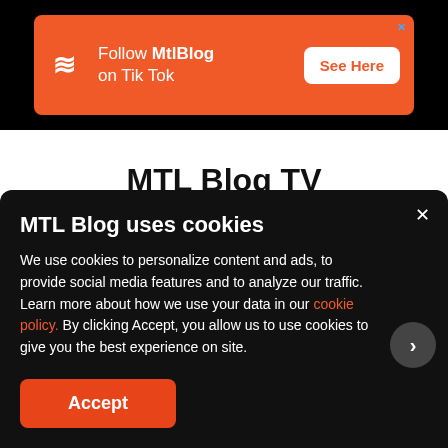[Figure (screenshot): Orange advertisement banner for MtlBlog TikTok with logo, text 'Follow MtlBlog on Tik Tok', and a white 'See Here' button. Blue X close button in top right.]
MTL Blog TV
MTL Blog uses cookies
We use cookies to personalize content and ads, to provide social media features and to analyze our traffic. Learn more about how we use your data in our cookie policy. By clicking Accept, you allow us to use cookies to give you the best experience on site.
Accept